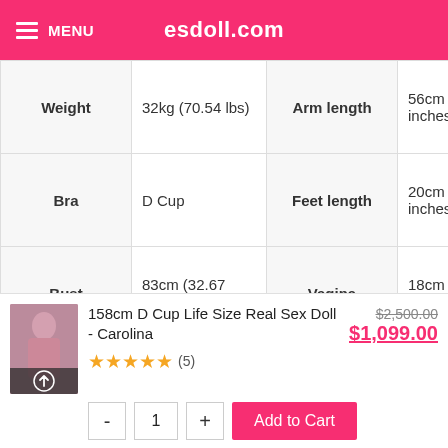MENU  esdoll.com
| Weight | 32kg (70.54 lbs) | Arm length | 56cm (22.04 inches) |
| Bra | D Cup | Feet length | 20cm (7.87 inches) |
| Bust | 83cm (32.67 inches) | Vagina | 18cm (7.08 inches) |
| Waist | 50cm (19.68 inches) | Anus | 16cm (6.29 inches) |
158cm D Cup Life Size Real Sex Doll - Carolina
★★★★★ (5)
$2,500.00  $1,099.00